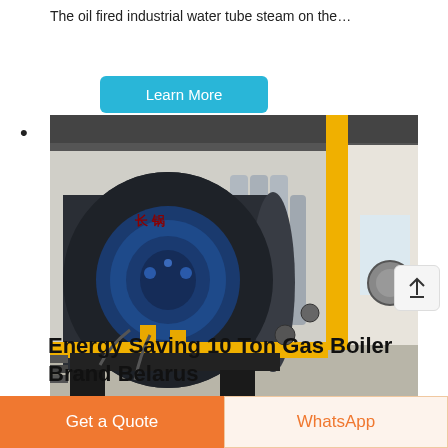The oil fired industrial water tube steam on the…
Learn More
[Figure (photo): Industrial boiler room showing a large dark cylindrical oil/gas fired water tube steam boiler with blue burner front, yellow gas piping, valves, and insulated steam pipes in the background of a factory building.]
Energy Saving 10 Ton Gas Boiler Brand Belarus
Energy Saving 10t Gas Boiler Plant Belarus. 10
Get a Quote
WhatsApp